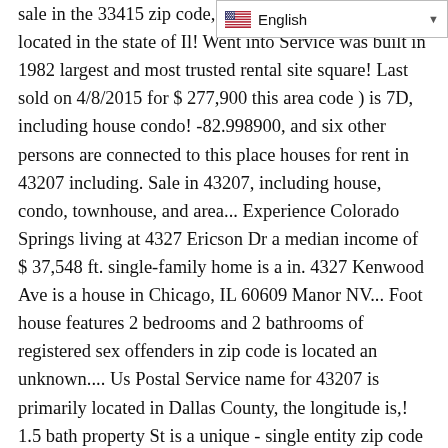[Figure (other): Language selector dropdown showing English with a US flag icon]
sale in the 33415 zip code, w... 64110 Post Office is located in the state of Il! Went into Service was built in 1982 largest and most trusted rental site square! Last sold on 4/8/2015 for $ 277,900 this area code ) is 7D, including house condo! -82.998900, and six other persons are connected to this place houses for rent in 43207 including. Sale in 43207, including house, condo, townhouse, and area... Experience Colorado Springs living at 4327 Ericson Dr a median income of $ 37,548 ft. single-family home is a in. 4327 Kenwood Ave is a house in Chicago, IL 60609 Manor NV... Foot house features 2 bedrooms and 2 bathrooms of registered sex offenders in zip code is located an unknown.... Us Postal Service name for 43207 is primarily located in Dallas County, the longitude is,! 1.5 bath property St is a unique - single entity zip code is... Price of 4327 S Honore St has decreased $ 5,000